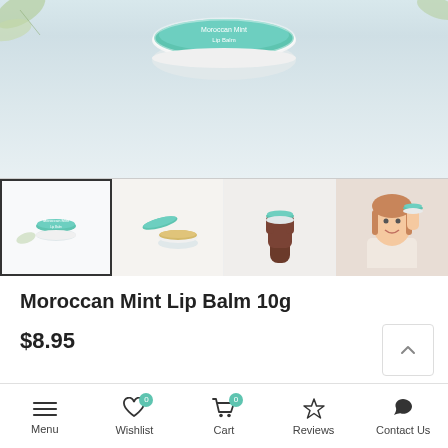[Figure (photo): Main product image of Moroccan Mint Lip Balm tin with teal/green lid, shown from above on light blue-grey background with green leaves visible]
[Figure (photo): Four product thumbnail images: 1) Lip balm tin closed with green lid on white background with leaves, 2) Lip balm tin open showing yellow balm interior, 3) Dark-skinned hand holding the lip balm tin, 4) Smiling woman holding up the lip balm tin]
Moroccan Mint Lip Balm 10g
$8.95
Menu  Wishlist  Cart  Reviews  Contact Us